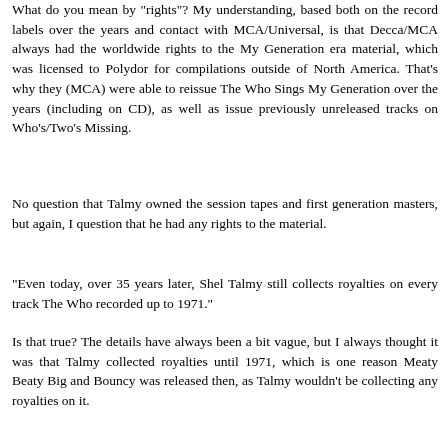What do you mean by "rights"? My understanding, based both on the record labels over the years and contact with MCA/Universal, is that Decca/MCA always had the worldwide rights to the My Generation era material, which was licensed to Polydor for compilations outside of North America. That's why they (MCA) were able to reissue The Who Sings My Generation over the years (including on CD), as well as issue previously unreleased tracks on Who's/Two's Missing.
No question that Talmy owned the session tapes and first generation masters, but again, I question that he had any rights to the material.
"Even today, over 35 years later, Shel Talmy still collects royalties on every track The Who recorded up to 1971."
Is that true? The details have always been a bit vague, but I always thought it was that Talmy collected royalties until 1971, which is one reason Meaty Beaty Big and Bouncy was released then, as Talmy wouldn't be collecting any royalties on it.